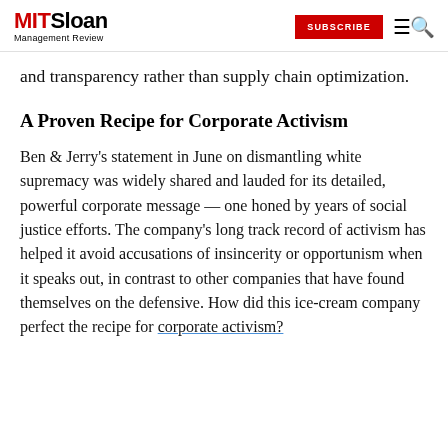MIT Sloan Management Review | SUBSCRIBE
and transparency rather than supply chain optimization.
A Proven Recipe for Corporate Activism
Ben & Jerry's statement in June on dismantling white supremacy was widely shared and lauded for its detailed, powerful corporate message — one honed by years of social justice efforts. The company's long track record of activism has helped it avoid accusations of insincerity or opportunism when it speaks out, in contrast to other companies that have found themselves on the defensive. How did this ice-cream company perfect the recipe for corporate activism?